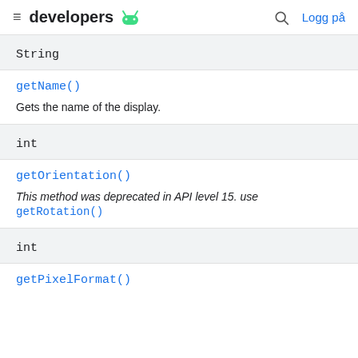developers  Logg på
String
getName()
Gets the name of the display.
int
getOrientation()
This method was deprecated in API level 15. use getRotation()
int
getPixelFormat()